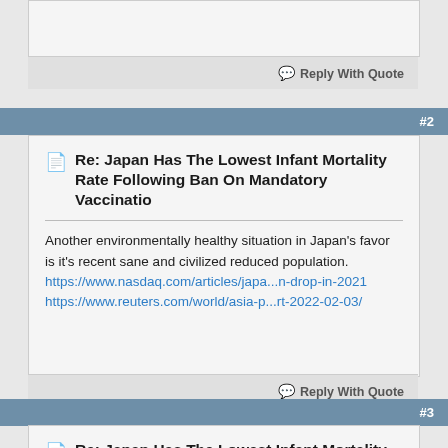[partial post card at top, cut off]
Reply With Quote
#2
Re: Japan Has The Lowest Infant Mortality Rate Following Ban On Mandatory Vaccinatio
Another environmentally healthy situation in Japan's favor is it's recent sane and civilized reduced population.
https://www.nasdaq.com/articles/japa...n-drop-in-2021
https://www.reuters.com/world/asia-p...rt-2022-02-03/
Reply With Quote
#3
Re: Japan Has The Lowest Infant Mortality Rate Following Ban On Mandatory Vaccinatio
Thanks for finding this, Julianne. It's strongly supportive of what Hawkes' Health stands for: safe and natural alternatives to pharmaceuticals. I dare say that similar studies have been done on Amish communities populations and I would be most curious to see